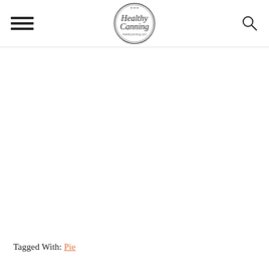Healthy Canning — healthycanning.com
Tagged With: Pie